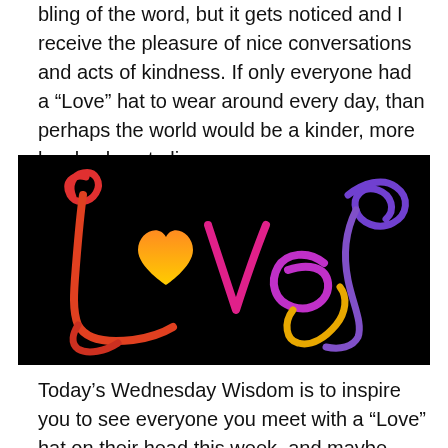bling of the word, but it gets noticed and I receive the pleasure of nice conversations and acts of kindness. If only everyone had a “Love” hat to wear around every day, than perhaps the world would be a kinder, more lovely place to live.
[Figure (illustration): Decorative calligraphic word 'Love' in colorful gradient script (red, orange, pink, purple) on a black background, with the 'o' replaced by a heart shape.]
Today’s Wednesday Wisdom is to inspire you to see everyone you meet with a “Love” hat on their head this week, and maybe when the world looks...